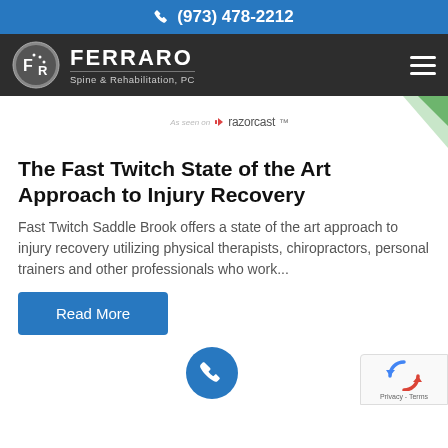(973) 478-2212
[Figure (logo): Ferraro Spine & Rehabilitation, PC logo with circular emblem and hamburger menu icon on dark background]
[Figure (logo): Razorcast logo with decorative green corner graphic]
The Fast Twitch State of the Art Approach to Injury Recovery
Fast Twitch Saddle Brook offers a state of the art approach to injury recovery utilizing physical therapists, chiropractors, personal trainers and other professionals who work...
Read More
[Figure (other): Blue circular call/phone floating action button and reCAPTCHA privacy badge]